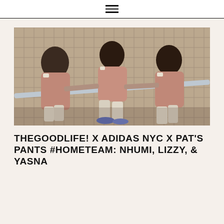≡
[Figure (photo): Three young women wearing matching dusty rose/pink corduroy jackets and light-colored pants, posing on a subway station escalator or stairway with tiled walls in the background. They are leaning and posing dynamically.]
THEGOODLIFE! X ADIDAS NYC X PAT'S PANTS #HOMETEAM: NHUMI, LIZZY, & YASNA